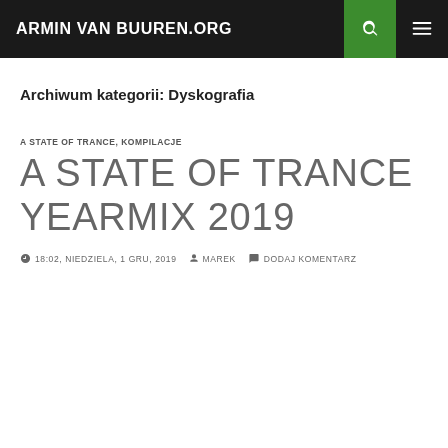ARMIN VAN BUUREN.ORG
Archiwum kategorii: Dyskografia
A STATE OF TRANCE, KOMPILACJE
A STATE OF TRANCE YEARMIX 2019
18:02, NIEDZIELA, 1 GRU, 2019  MAREK  DODAJ KOMENTARZ